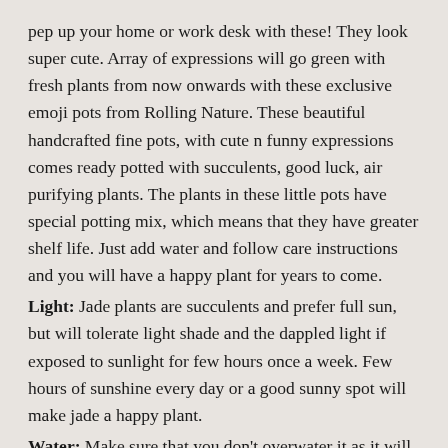pep up your home or work desk with these! They look super cute. Array of expressions will go green with fresh plants from now onwards with these exclusive emoji pots from Rolling Nature. These beautiful handcrafted fine pots, with cute n funny expressions comes ready potted with succulents, good luck, air purifying plants. The plants in these little pots have special potting mix, which means that they have greater shelf life. Just add water and follow care instructions and you will have a happy plant for years to come.
Light: Jade plants are succulents and prefer full sun, but will tolerate light shade and the dappled light if exposed to sunlight for few hours once a week. Few hours of sunshine every day or a good sunny spot will make jade a happy plant.
Water: Make sure that you don't overwater it as it will